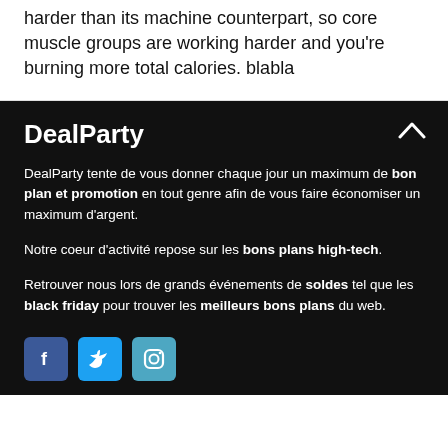harder than its machine counterpart, so core muscle groups are working harder and you're burning more total calories. blabla
DealParty
DealParty tente de vous donner chaque jour un maximum de bon plan et promotion en tout genre afin de vous faire économiser un maximum d'argent.
Notre coeur d'activité repose sur les bons plans high-tech.
Retrouver nous lors de grands événements de soldes tel que les black friday pour trouver les meilleurs bons plans du web.
[Figure (illustration): Social media icons: Facebook (blue), Twitter (light blue), Instagram (teal/blue)]